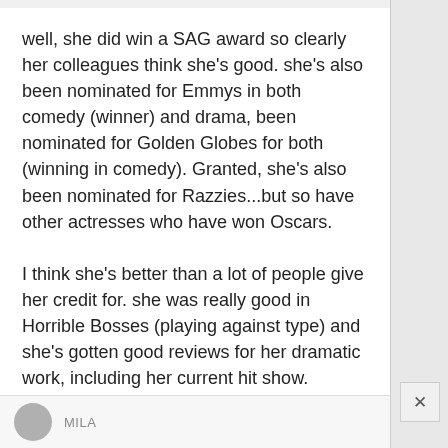well, she did win a SAG award so clearly her colleagues think she's good. she's also been nominated for Emmys in both comedy (winner) and drama, been nominated for Golden Globes for both (winning in comedy). Granted, she's also been nominated for Razzies...but so have other actresses who have won Oscars.

I think she's better than a lot of people give her credit for. she was really good in Horrible Bosses (playing against type) and she's gotten good reviews for her dramatic work, including her current hit show.

I mean, she's no Meryl, but she's also not Jessica Alba.
MILA